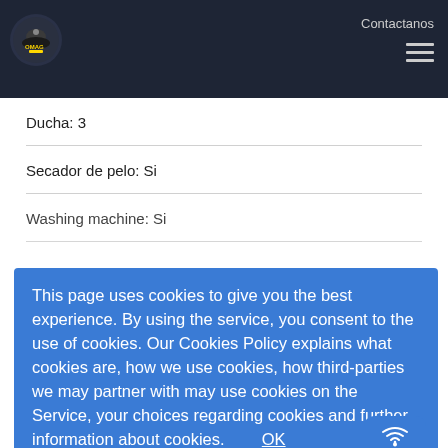Contactanos
Ducha: 3
Secador de pelo: Si
Washing machine: Si
This page uses cookies to give you the best experience. By using the service, you consent to the use of cookies. Our Cookies Policy explains what cookies are, how we use cookies, how third-parties we may partner with may use cookies on the Service, your choices regarding cookies and further information about cookies. OK Read cookie info